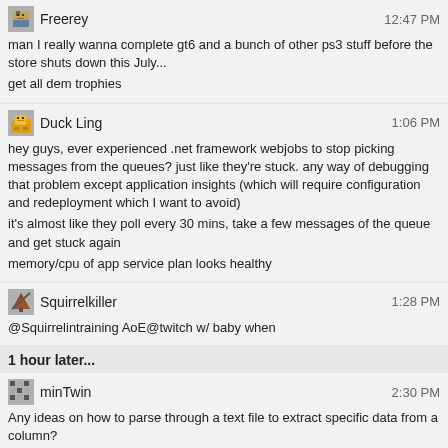Freerey 12:47 PM
man I really wanna complete gt6 and a bunch of other ps3 stuff before the store shuts down this July...
get all dem trophies
Duck Ling 1:06 PM
hey guys, ever experienced .net framework webjobs to stop picking messages from the queues? just like they're stuck. any way of debugging that problem except application insights (which will require configuration and redeployment which I want to avoid)
it's almost like they poll every 30 mins, take a few messages of the queue and get stuck again
memory/cpu of app service plan looks healthy
Squirrelkiller 1:28 PM
@Squirrelintraining AoE@twitch w/ baby when
1 hour later...
minTwin 2:30 PM
Any ideas on how to parse through a text file to extract specific data from a column?
Freerey 2:37 PM
regex?
minTwin 2:38 PM
Yeah I think using regular expression is a start. I don't have the most experience with it but its seems like the right direction
Freerey 2:38 PM
and by text file you just mean a regular .txt? no .json or anything?